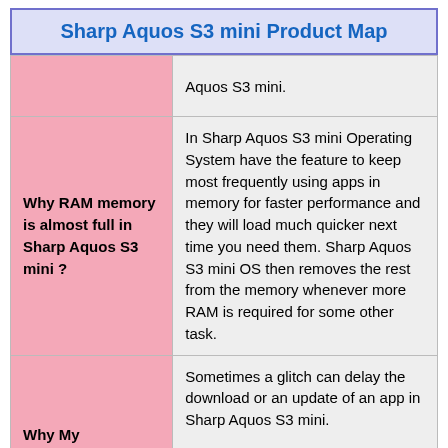Sharp Aquos S3 mini Product Map
| Question | Answer |
| --- | --- |
|  | Aquos S3 mini. |
| Why RAM memory is almost full in Sharp Aquos S3 mini ? | In Sharp Aquos S3 mini Operating System have the feature to keep most frequently using apps in memory for faster performance and they will load much quicker next time you need them. Sharp Aquos S3 mini OS then removes the rest from the memory whenever more RAM is required for some other task. |
| Why My | Sometimes a glitch can delay the download or an update of an app in Sharp Aquos S3 mini. |